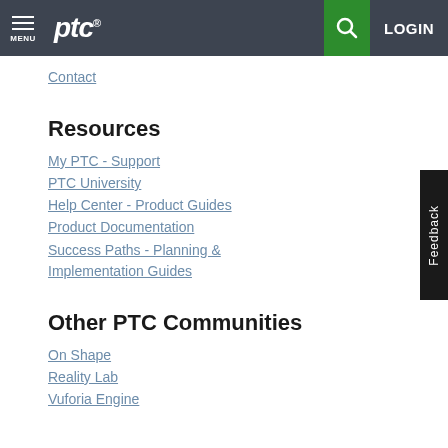MENU | ptc® | [search] | LOGIN
Contact
Resources
My PTC - Support
PTC University
Help Center - Product Guides
Product Documentation
Success Paths - Planning & Implementation Guides
Other PTC Communities
On Shape
Reality Lab
Vuforia Engine